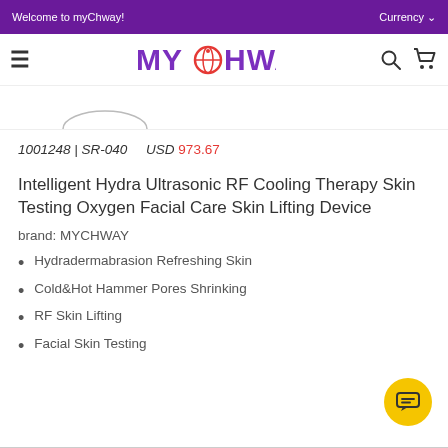Welcome to myChway!   Currency
[Figure (logo): MYCHWAY logo with globe icon replacing the O, purple text, red circle globe]
[Figure (other): Partial oval/ellipse shape showing top of product image]
1001248 | SR-040    USD 973.67
Intelligent Hydra Ultrasonic RF Cooling Therapy Skin Testing Oxygen Facial Care Skin Lifting Device
brand: MYCHWAY
Hydradermabrasion Refreshing Skin
Cold&Hot Hammer Pores Shrinking
RF Skin Lifting
Facial Skin Testing